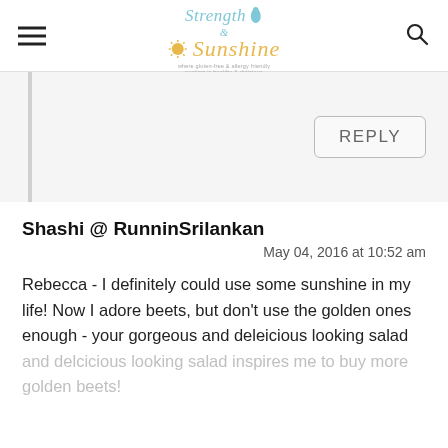Strength & Sunshine — where gluten-free & allergy friendly cooking is healthy & delicious
REPLY
Shashi @ RunninSrilankan
May 04, 2016 at 10:52 am
Rebecca - I definitely could use some sunshine in my life! Now I adore beets, but don't use the golden ones enough - your gorgeous and deleicious looking salad inspires me to buy more golden beets!